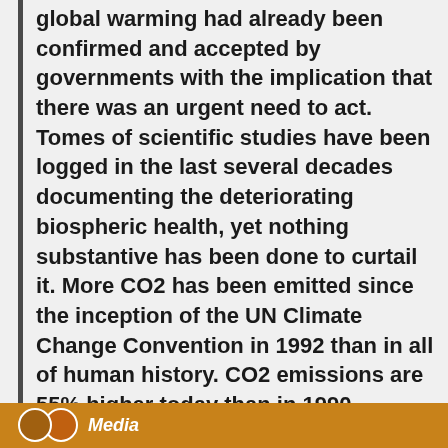global warming had already been confirmed and accepted by governments with the implication that there was an urgent need to act. Tomes of scientific studies have been logged in the last several decades documenting the deteriorating biospheric health, yet nothing substantive has been done to curtail it. More CO2 has been emitted since the inception of the UN Climate Change Convention in 1992 than in all of human history. CO2 emissions are 55% higher today than in 1990. Despite 20 international conferences on fossil fuel use reduction and an international treaty that entered into force in 1994, manmade greenhouse gases have risen inexorably."